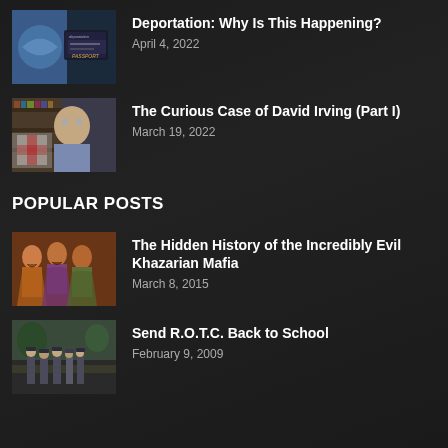[Figure (photo): Passport and map with 'deportation' text visible on page]
Deportation: Why Is This Happening?
April 4, 2022
[Figure (photo): Older man with white hair standing in front of bookshelves]
The Curious Case of David Irving (Part I)
March 19, 2022
POPULAR POSTS
[Figure (illustration): Historical painting of robed figures with colorful clothing]
The Hidden History of the Incredibly Evil Khazarian Mafia
March 8, 2015
[Figure (photo): Group of ROTC cadets in uniform walking outdoors]
Send R.O.T.C. Back to School
February 9, 2009